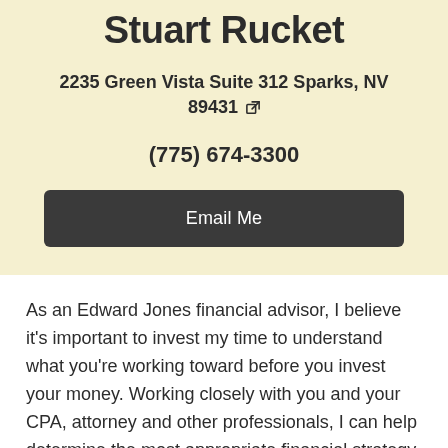Stuart Rucket
2235 Green Vista Suite 312 Sparks, NV 89431
(775) 674-3300
Email Me
As an Edward Jones financial advisor, I believe it's important to invest my time to understand what you're working toward before you invest your money. Working closely with you and your CPA, attorney and other professionals, I can help determine the most appropriate financial strategy for you and your family. I